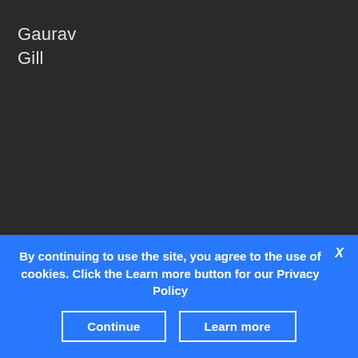Gaurav
Gill
dominated the fifth round of the FIA Asia Pacific Rally Championship (APRC) held at the Malaysian Rally this weekend in his Team MRF Skoda Fabia R5, after…
By continuing to use the site, you agree to the use of cookies. Click the Learn more button for our Privacy Policy